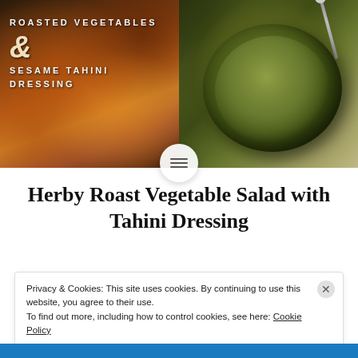[Figure (photo): Left half: Roasted vegetables with text overlay reading 'ROASTED VEGETABLES & SESAME TAHINI DRESSING'. Right half: Green ceramic bowl with tahini dressing and a spoon.]
Herby Roast Vegetable Salad with Tahini Dressing
Privacy & Cookies: This site uses cookies. By continuing to use this website, you agree to their use.
To find out more, including how to control cookies, see here: Cookie Policy
Close and accept